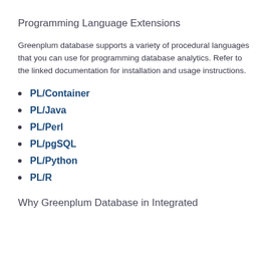Programming Language Extensions
Greenplum database supports a variety of procedural languages that you can use for programming database analytics. Refer to the linked documentation for installation and usage instructions.
PL/Container
PL/Java
PL/Perl
PL/pgSQL
PL/Python
PL/R
Why Greenplum Database in Integrated